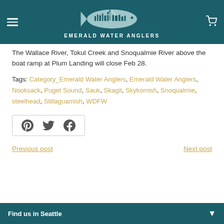[Figure (logo): Emerald Water Anglers logo with fish silhouette and city skyline, white on teal background, with hamburger menu icon on left and cart icon on right]
The Wallace River, Tokul Creek and Snoqualmie River above the boat ramp at Plum Landing will close Feb 28.
Tags: Category_Emerald Water Anglers, Emerald Water Anglers, Nooksack, Puget Sound, Sauk, Skagit, Skykomish, Snoqualmie, steelhead, Stillaguamish, WDFW
[Figure (infographic): Social share buttons: Pinterest, Twitter, Facebook icons in a bordered box]
Previous post
Next post
Find us in Seattle